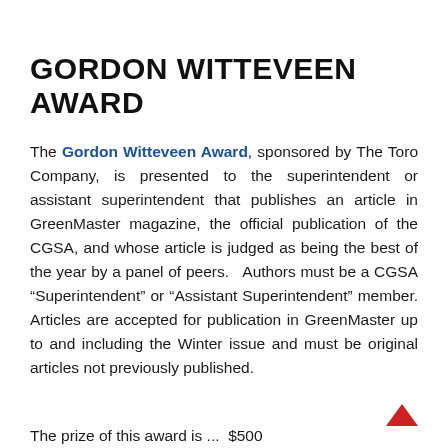GORDON WITTEVEEN AWARD
The Gordon Witteveen Award, sponsored by The Toro Company, is presented to the superintendent or assistant superintendent that publishes an article in GreenMaster magazine, the official publication of the CGSA, and whose article is judged as being the best of the year by a panel of peers.   Authors must be a CGSA “Superintendent” or “Assistant Superintendent” member. Articles are accepted for publication in GreenMaster up to and including the Winter issue and must be original articles not previously published.
The prize of this award is ...  $500